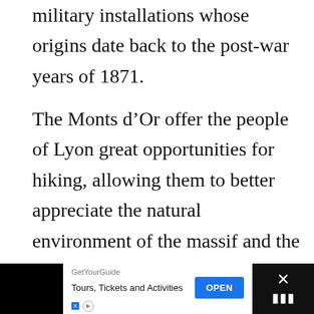military installations whose origins date back to the post-war years of 1871.
The Monts d’Or offer the people of Lyon great opportunities for hiking, allowing them to better appreciate the natural environment of the massif and the small heritage (the cabornes or dry stone shelters).
There are plenty of opportunities to see the surrounding countryside. It is absolutely necessary to go to the Croix Rampau to en…
[Figure (other): Advertisement banner from GetYourGuide: 'Tours, Tickets and Activities' with an OPEN button, ad disclosure markers (X, play icon), and a close button with dots icon on the right.]